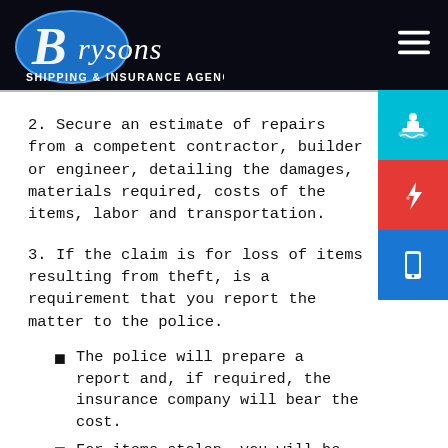Brysons Shipping & Insurance Agency
2. Secure an estimate of repairs from a competent contractor, builder or engineer, detailing the damages, materials required, costs of the items, labor and transportation.
3. If the claim is for loss of items resulting from theft, is a requirement that you report the matter to the police.
The police will prepare a report and, if required, the insurance company will bear the cost.
For items stolen, you will be required to list the stolen items and provide evidence of the cost to replace the items.